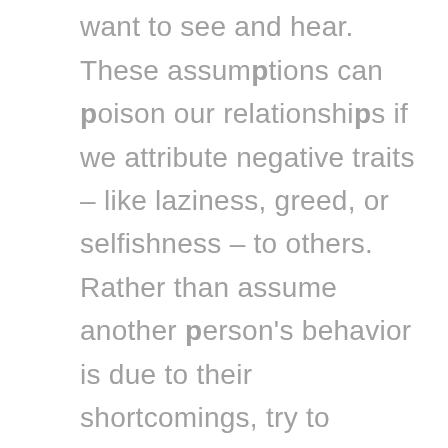see and hear what we want to see and hear. These assumptions can poison our relationships if we attribute negative traits – like laziness, greed, or selfishness – to others. Rather than assume another person's behavior is due to their shortcomings, try to assume that everyone is doing the best they can. Then, ask questions so you can truly understand the behavior. By assuming the best, we keep our relationships positive and respectful.